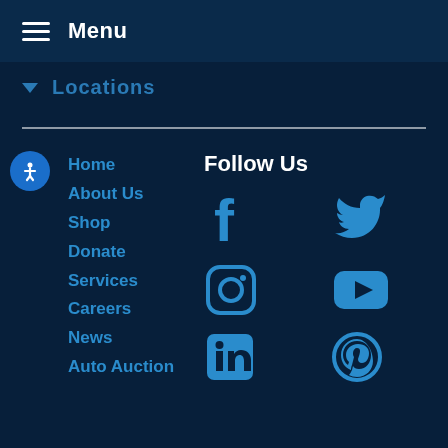Menu
Locations
Home
About Us
Shop
Donate
Services
Careers
News
Auto Auction
Follow Us
[Figure (infographic): Social media icons grid: Facebook, Twitter, Instagram, YouTube, LinkedIn, Pinterest]